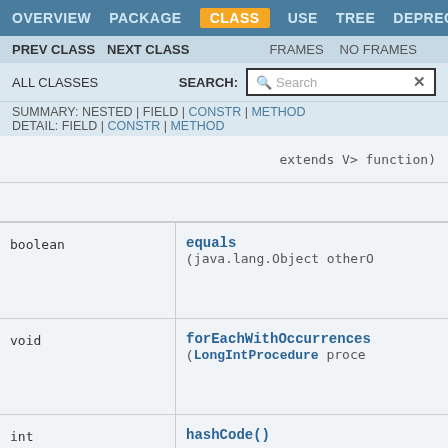OVERVIEW  PACKAGE  CLASS  USE  TREE  DEPRECATED
PREV CLASS  NEXT CLASS    FRAMES  NO FRAMES
ALL CLASSES    SEARCH:
SUMMARY: NESTED | FIELD | CONSTR | METHOD
DETAIL: FIELD | CONSTR | METHOD
extends V> function)
| Type | Method |
| --- | --- |
| boolean | equals
(java.lang.Object otherO |
| void | forEachWithOccurrences
(LongIntProcedure proce |
| int | hashCode() |